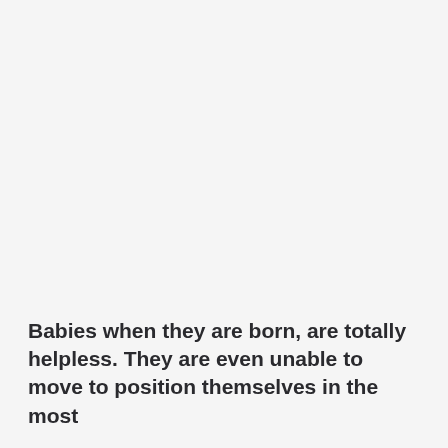Babies when they are born, are totally helpless. They are even unable to move to position themselves in the most